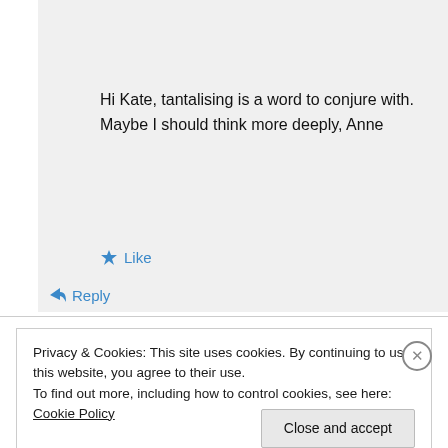annestenhouse on December 18, 2016 at 12:43 pm
Hi Kate, tantalising is a word to conjure with. Maybe I should think more deeply, Anne
Like
Reply
Privacy & Cookies: This site uses cookies. By continuing to use this website, you agree to their use.
To find out more, including how to control cookies, see here: Cookie Policy
Close and accept